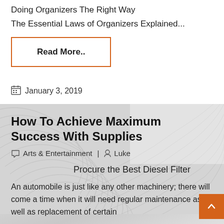Doing Organizers The Right Way
The Essential Laws of Organizers Explained...
Read More..
January 3, 2019
How To Achieve Maximum Success With Supplies
Arts & Entertainment | Luke
Procure the Best Diesel Filter
An automobile is just like any other machinery; there will come a time when it will need regular maintenance as well as replacement of certain